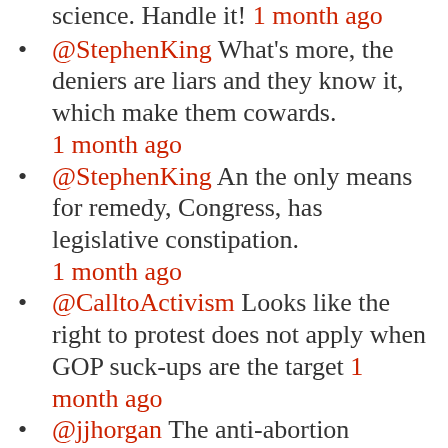science. Handle it! 1 month ago
@StephenKing What's more, the deniers are liars and they know it, which make them cowards. 1 month ago
@StephenKing An the only means for remedy, Congress, has legislative constipation. 1 month ago
@CalltoActivism Looks like the right to protest does not apply when GOP suck-ups are the target 1 month ago
@jjhorgan The anti-abortion